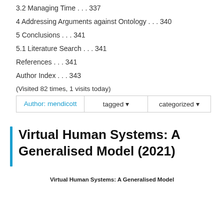3.2 Managing Time . . . 337
4 Addressing Arguments against Ontology . . . 340
5 Conclusions . . . 341
5.1 Literature Search . . . 341
References . . . 341
Author Index . . . 343
(Visited 82 times, 1 visits today)
| Author: mendicott | tagged ▾ | categorized ▾ |
| --- | --- | --- |
Virtual Human Systems: A Generalised Model (2021)
Virtual Human Systems: A Generalised Model